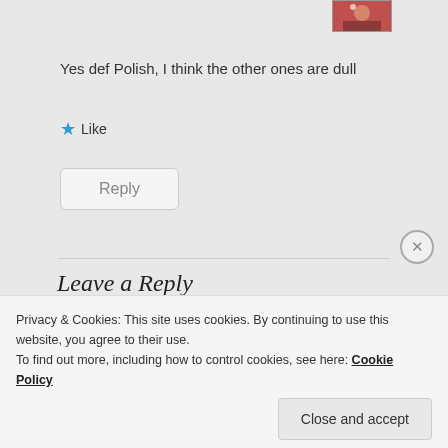[Figure (photo): Small avatar/profile photo thumbnail in top right corner, reddish tones]
Yes def Polish, I think the other ones are dull
★ Like
Reply
Leave a Reply
Your email address will not be published. Required fields are marked *
Comment *
Privacy & Cookies: This site uses cookies. By continuing to use this website, you agree to their use.
To find out more, including how to control cookies, see here: Cookie Policy
Close and accept